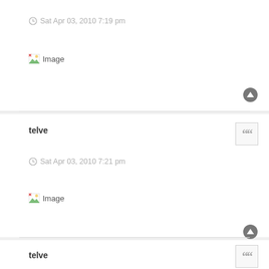Sat Apr 03, 2010 7:19 pm
[Figure (other): Image placeholder icon with broken image symbol]
telve
Sat Apr 03, 2010 7:21 pm
[Figure (other): Image placeholder icon with broken image symbol]
telve